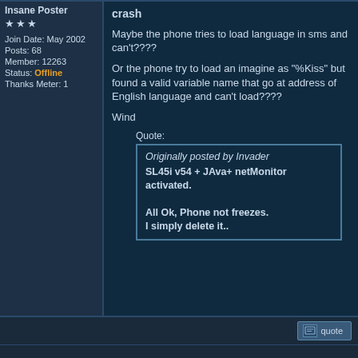Insane Poster
★★★
Join Date: May 2002
Posts: 68
Member: 12263
Status: Offline
Thanks Meter: 1
crash

Maybe the phone tries to load language in sms and can't????

Or the phone try to load an imagine as "%Kiss" but found a valid variable name that go at address of English language and can't load????

Wind
Quote:
Originally posted by Invader
SL45i v54 + JAva+ netMonitor activated.

All Ok, Phone not freezes.
I simply delete it..
quote